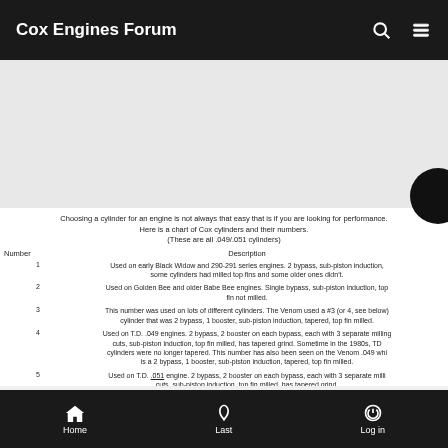Cox Engines Forum
[Figure (other): Gray advertisement/banner area]
Choosing a cylinder for an engine is not always that easy that is if you are looking for performance. Here is a chart of Cox cylinders and their numbers. (These are all .049/.051 cylinders)
| Number | Description |
| --- | --- |
| 1 | Used on early Black Widow and 290-291 series engines. 2 bypass, sub-piston induction, some cylinders had milled top fins and some older ones didn't. |
| 2 | Used on Golden Bee and older Babe Bee engines. Single bypass, sub-piston induction, top fin not milled. |
| 3 | This number was used on lots of different cylinders. The Venom used a #3 (or 4, see below) cylinder that was 2 bypass, 1 booster, sub-piston induction, tapered, top fin milled. |
| 4 | Used on T.D. .049 engines. 2 bypass, 2 booster on each bypass, each with 3 separate milling cuts, sub-piston induction, top fin milled, has tapered grind. Sometime in the 1980s, TD cylinders were no longer tapered. This number has also been seen on the Venom .049 whi is a 2 bypass, 1 booster, sub-piston induction, tapered, top fin milled. |
| 5 | Used on T.D. .051 engine. 2 bypass, 2 booster on each bypass, each with 3 separate milli cuts, sub-piston induction, top fin milled, has tapered grind. |
| 6 | Used on QZ and QRC and seen on some Sure Start engines. 2 bypass, no sub-piston induction, top fin milled. NOTE: The Sure Start cylinder had a twin slit exhaust, 1 booster o... |
Home  Last  Log in